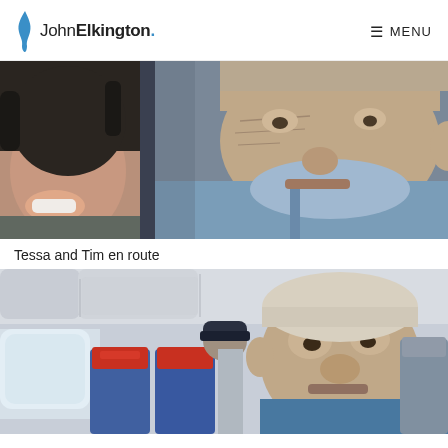John Elkington. MENU
[Figure (photo): Close-up selfie of a smiling woman on the left and an elderly man in a denim shirt seated on an airplane]
Tessa and Tim en route
[Figure (photo): Interior of an airplane cabin showing an elderly man in a blue jacket seated, with red headrest covers and other passengers visible]